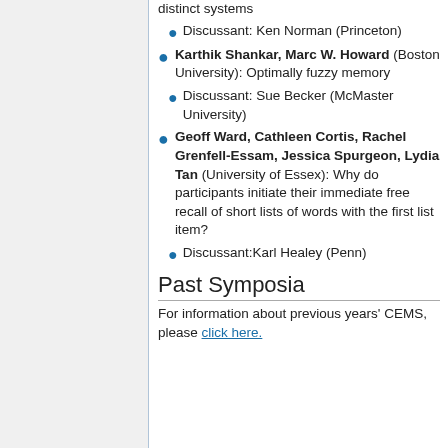distinct systems
Discussant: Ken Norman (Princeton)
Karthik Shankar, Marc W. Howard (Boston University): Optimally fuzzy memory
Discussant: Sue Becker (McMaster University)
Geoff Ward, Cathleen Cortis, Rachel Grenfell-Essam, Jessica Spurgeon, Lydia Tan (University of Essex): Why do participants initiate their immediate free recall of short lists of words with the first list item?
Discussant:Karl Healey (Penn)
Past Symposia
For information about previous years' CEMS, please click here.